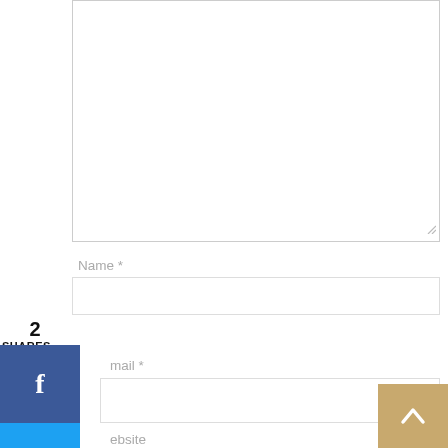[Figure (screenshot): Comment form textarea (empty, with resize handle at bottom-right)]
Name *
[Figure (screenshot): Name input field (empty)]
2
SHARES
[Figure (screenshot): Social share sidebar with Facebook (f icon), Twitter (bird icon), Pinterest (P icon) buttons and count 2]
mail *
[Figure (screenshot): Email input field (empty)]
ebsite
Recommended
Superbowl Day 2: “Everything” Chicken Tenders
I love everything bagels.  But since I have started b…y
[Figure (screenshot): Back to top button (tan/gold arrow up)]